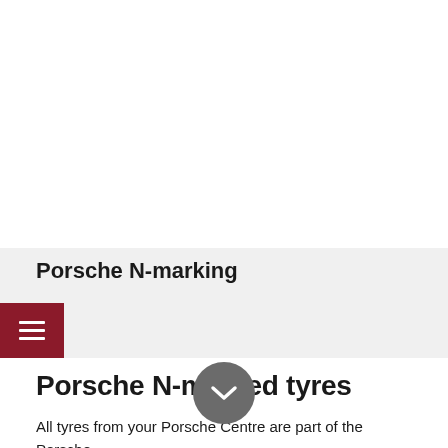[Figure (screenshot): White blank area at the top of the page, representing a cropped image or empty content area]
Porsche N-marking
[Figure (other): Dark red/maroon hamburger menu button with three white horizontal lines]
Porsche N-marked tyres
All tyres from your Porsche Centre are part of the Porsche...